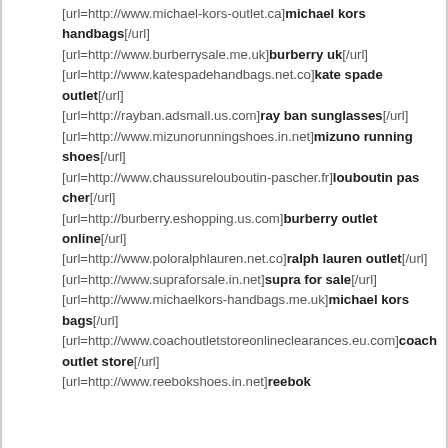[url=http://www.michael-kors-outlet.ca]michael kors handbags[/url]
[url=http://www.burberrysale.me.uk]burberry uk[/url]
[url=http://www.katespadehandbags.net.co]kate spade outlet[/url]
[url=http://rayban.adsmall.us.com]ray ban sunglasses[/url]
[url=http://www.mizunorunningshoes.in.net]mizuno running shoes[/url]
[url=http://www.chaussurelouboutin-pascher.fr]louboutin pas cher[/url]
[url=http://burberry.eshopping.us.com]burberry outlet online[/url]
[url=http://www.poloralphlauren.net.co]ralph lauren outlet[/url]
[url=http://www.supraforsale.in.net]supra for sale[/url]
[url=http://www.michaelkors-handbags.me.uk]michael kors bags[/url]
[url=http://www.coachoutletstoreonlineclearances.eu.com]coach outlet store[/url]
[url=http://www.reebokshoes.in.net]reebok